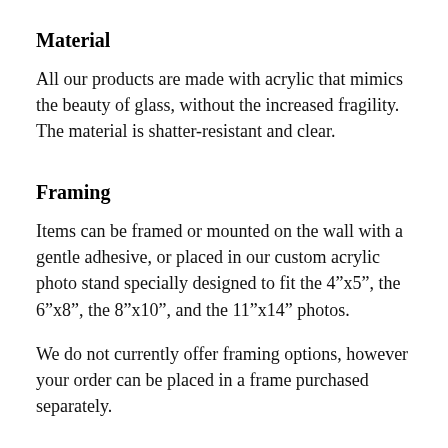Material
All our products are made with acrylic that mimics the beauty of glass, without the increased fragility. The material is shatter-resistant and clear.
Framing
Items can be framed or mounted on the wall with a gentle adhesive, or placed in our custom acrylic photo stand specially designed to fit the 4"x5", the 6"x8", the 8"x10", and the 11"x14" photos.
We do not currently offer framing options, however your order can be placed in a frame purchased separately.